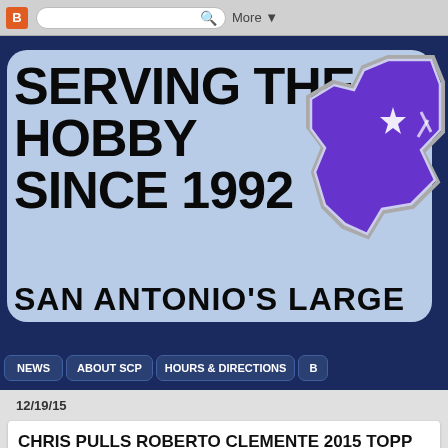[Figure (screenshot): Browser toolbar with Blogger B icon, search bar, and More button]
SERVING THE HOBBY SINCE 1992
SAN ANTONIO'S LARGE
[Figure (illustration): Blue Texas state shape with silver/chrome border and purple fill]
NEWS   ABOUT SCP   HOURS & DIRECTIONS   B
12/19/15
CHRIS PULLS ROBERTO CLEMENTE 2015 TOPP BAT CUT SIGNATURE 1/1 AT SPORTS CARDS PL
[Figure (photo): Partial image of a wooden bat or memorabilia item]